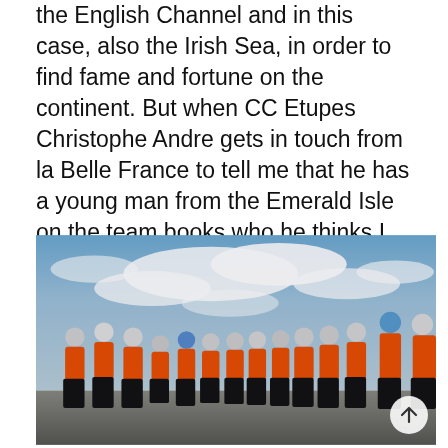the English Channel and in this case, also the Irish Sea, in order to find fame and fortune on the continent. But when CC Etupes Christophe Andre gets in touch from la Belle France to tell me that he has a young man from the Emerald Isle on the team books who he thinks I should be speaking to, I pay attention.
[Figure (photo): A group of cyclists in matching orange and black team jerseys and helmets standing in a curved line against a dramatic cloudy blue sky background. The team appears to be CC Etupes cycling team.]